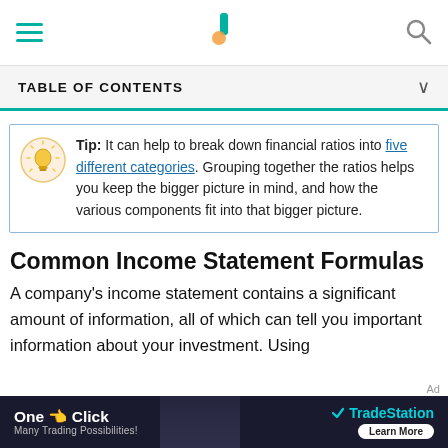TABLE OF CONTENTS
Tip: It can help to break down financial ratios into five different categories. Grouping together the ratios helps you keep the bigger picture in mind, and how the various components fit into that bigger picture.
Common Income Statement Formulas
A company's income statement contains a significant amount of information, all of which can tell you important information about your investment. Using
[Figure (other): Advertisement banner: 'One Click - Many Trading Possibilities!' with TradeStation logo and Learn More button]